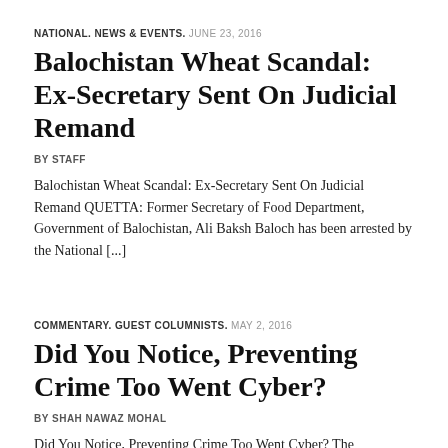NATIONAL. NEWS & EVENTS. JUNE 23, 2016
Balochistan Wheat Scandal: Ex-Secretary Sent On Judicial Remand
BY STAFF
Balochistan Wheat Scandal: Ex-Secretary Sent On Judicial Remand QUETTA: Former Secretary of Food Department, Government of Balochistan, Ali Baksh Baloch has been arrested by the National [...]
COMMENTARY. GUEST COLUMNISTS. MAY 2, 2016
Did You Notice, Preventing Crime Too Went Cyber?
BY SHAH NAWAZ MOHAL
Did You Notice, Preventing Crime Too Went Cyber? The Cybercrime Bill NA passed should get more attention than it currently has Since Panama Papers dawned upon [...]